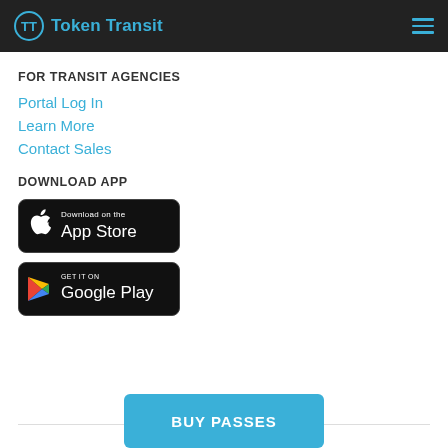Token Transit
FOR TRANSIT AGENCIES
Portal Log In
Learn More
Contact Sales
DOWNLOAD APP
[Figure (other): Download on the App Store badge]
[Figure (other): Get it on Google Play badge]
© 2015–2022 Token Transit, Inc.
BUY PASSES